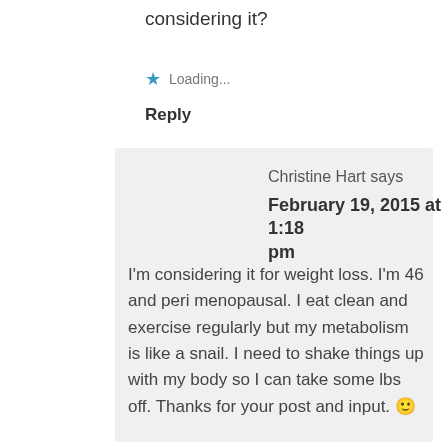considering it?
★ Loading...
Reply
Christine Hart says
February 19, 2015 at 1:18 pm
I'm considering it for weight loss. I'm 46 and peri menopausal. I eat clean and exercise regularly but my metabolism is like a snail. I need to shake things up with my body so I can take some lbs off. Thanks for your post and input. 🙂